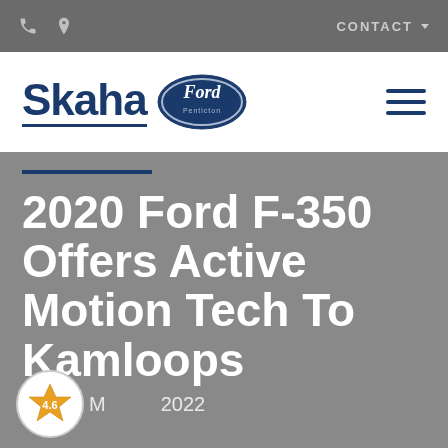CONTACT
[Figure (logo): Skaha Ford Penticton dealership logo with Ford oval badge]
2020 Ford F-350 Offers Active Motion Tech To Kamloops
May 2022